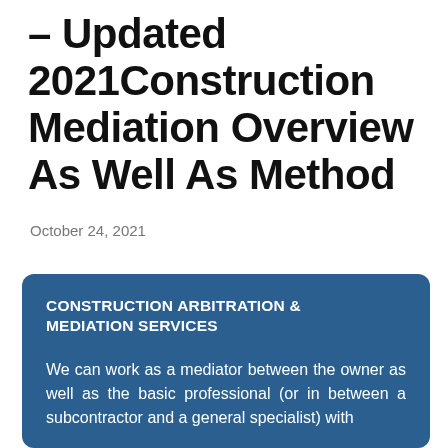– Updated 2021Construction Mediation Overview As Well As Method
October 24, 2021
CONSTRUCTION ARBITRATION & MEDIATION SERVICES
We can work as a mediator between the owner as well as the basic professional (or in between a subcontractor and a general specialist) with